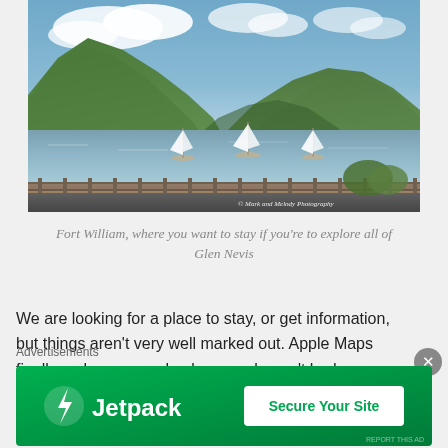[Figure (photo): Scenic photograph of Fort William, Scotland showing a loch with three sailboats, green hills and mountains in the background, a metal fence along a road in the foreground. Watermark reads '© Mark and Melody Photography'.]
Fort William, where you want to stay if you're to explore all of Glen Nevis
We are looking for a place to stay, or get information, but things aren't very well marked out. Apple Maps finally makes a comeback, as we haven't had map service since Glasgow. What a
Advertisements
[Figure (screenshot): Jetpack advertisement banner in green. Shows Jetpack logo (lightning bolt icon) and brand name on the left, and a white 'Secure Your Site' button on the right.]